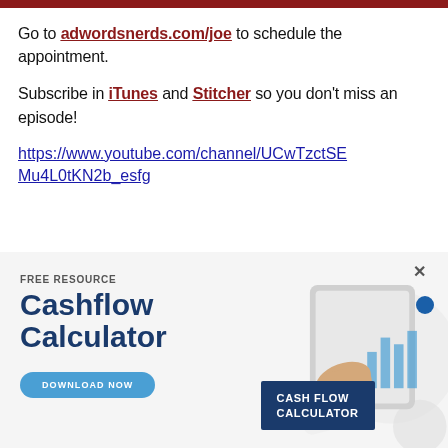Go to adwordsnerds.com/joe to schedule the appointment.
Subscribe in iTunes and Stitcher so you don't miss an episode!
https://www.youtube.com/channel/UCwTzctSEMu4L0tKN2b_esfg
[Figure (infographic): Advertisement banner for a free Cashflow Calculator resource. Left side shows 'FREE RESOURCE' label, 'Cashflow Calculator' heading in dark blue bold text, and a 'DOWNLOAD NOW' button in blue. Right side shows a hand holding a tablet with charts and a blue 'CASH FLOW CALCULATOR' label card.]